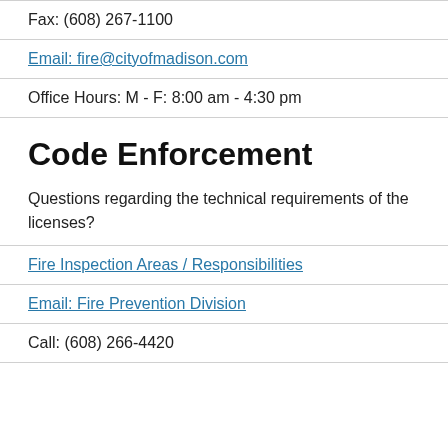Fax: (608) 267-1100
Email: fire@cityofmadison.com
Office Hours: M - F: 8:00 am - 4:30 pm
Code Enforcement
Questions regarding the technical requirements of the licenses?
Fire Inspection Areas / Responsibilities
Email: Fire Prevention Division
Call: (608) 266-4420